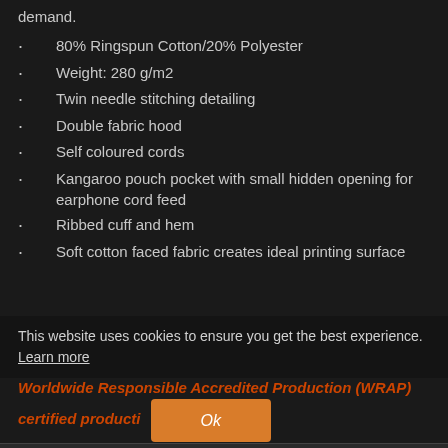demand.
80% Ringspun Cotton/20% Polyester
Weight: 280 g/m2
Twin needle stitching detailing
Double fabric hood
Self coloured cords
Kangaroo pouch pocket with small hidden opening for earphone cord feed
Ribbed cuff and hem
Soft cotton faced fabric creates ideal printing surface
This website uses cookies to ensure you get the best experience. Learn more
Worldwide Responsible Accredited Production (WRAP) certified production Ok